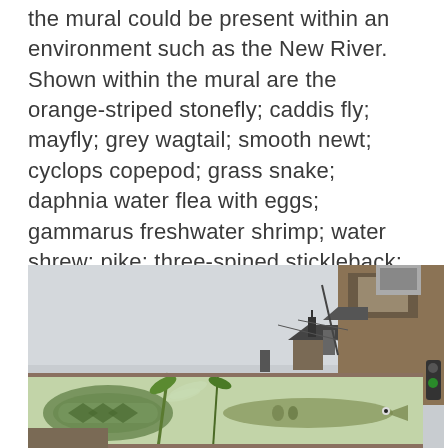the mural could be present within an environment such as the New River. Shown within the mural are the orange-striped stonefly; caddis fly; mayfly; grey wagtail; smooth newt; cyclops copepod; grass snake; daphnia water flea with eggs; gammarus freshwater shrimp; water shrew; pike; three-spined stickleback; banded demoiselle damselfly and a kingfisher.
[Figure (photo): Photograph of an outdoor mural painted on a large wall/hoarding, featuring various wildlife species including a grass snake, pike, and other river creatures on a light green background. Behind the mural are visible rooftops of brick buildings, chimneys, a utility pole, and an overcast grey sky. A traffic light is partially visible on the right edge.]